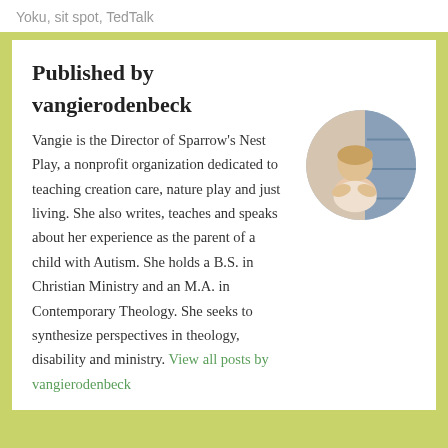Yoku, sit spot, TedTalk
Published by
vangierodenbeck
[Figure (photo): Circular portrait photo of Vangie, a woman sitting on stairs in a light-colored outfit]
Vangie is the Director of Sparrow's Nest Play, a nonprofit organization dedicated to teaching creation care, nature play and just living. She also writes, teaches and speaks about her experience as the parent of a child with Autism. She holds a B.S. in Christian Ministry and an M.A. in Contemporary Theology. She seeks to synthesize perspectives in theology, disability and ministry. View all posts by vangierodenbeck